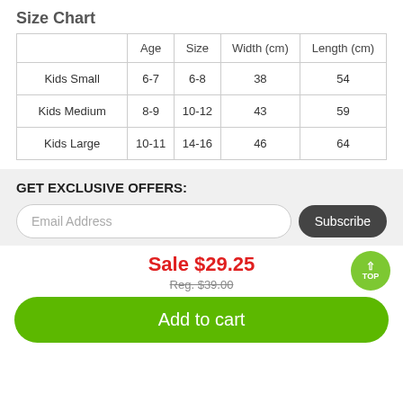Size Chart
|  | Age | Size | Width (cm) | Length (cm) |
| --- | --- | --- | --- | --- |
| Kids Small | 6-7 | 6-8 | 38 | 54 |
| Kids Medium | 8-9 | 10-12 | 43 | 59 |
| Kids Large | 10-11 | 14-16 | 46 | 64 |
GET EXCLUSIVE OFFERS:
Email Address
Subscribe
Sale $29.25
Reg. $39.00
Add to cart